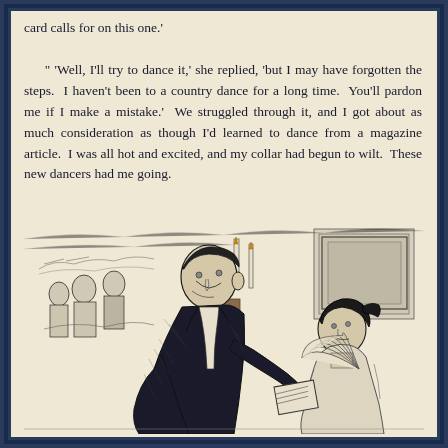card calls for on this one.'

" 'Well, I'll try to dance it,' she replied, 'but I may have forgotten the steps.  I haven't been to a country dance for a long time.  You'll pardon me if I make a mistake.'  We struggled through it, and I got about as much consideration as though I'd learned to dance from a magazine article.  I was all hot and excited, and my collar had begun to wilt.  These new dancers had me going.
[Figure (illustration): A black and white pen-and-ink illustration showing a formal social scene. A stout man in formal evening wear leans over toward a seated young woman who holds a fan. The background shows other party guests and decorative elements including candles and a framed picture on the wall.]